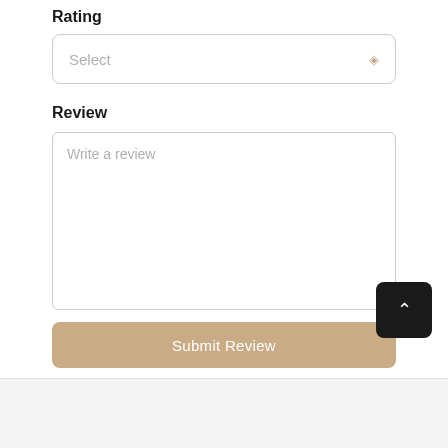Rating
[Figure (screenshot): A dropdown select input box with placeholder text 'Select' and a diamond/chevron icon on the right]
Review
[Figure (screenshot): A large textarea input with placeholder text 'Write a review' and a resize handle in the bottom-right corner]
[Figure (screenshot): A tan/beige submit button labeled 'Submit Review']
[Figure (screenshot): A black rounded square scroll-to-top button with a white upward chevron]
[Figure (screenshot): Footer area with a gray file/document icon on the left and a tan chat bubble icon button on the right]